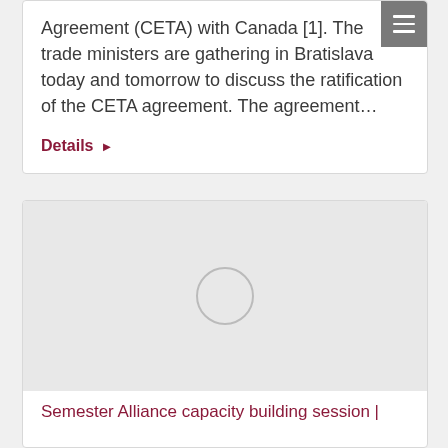Agreement (CETA) with Canada [1]. The trade ministers are gathering in Bratislava today and tomorrow to discuss the ratification of the CETA agreement. The agreement…
Details ▶
[Figure (other): Loading spinner / placeholder circle indicating an image is loading in a content card]
Semester Alliance capacity building session |